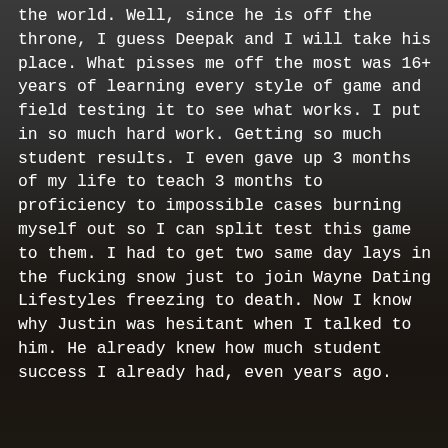the world. Well, since he is off the throne, I guess Deepak and I will take his place. What pisses me off the most was 16+ years of learning every style of game and field testing it to see what works. I put in so much hard work. Getting so much student results. I even gave up 3 months of my life to teach 3 months to proficiency to impossible cases burning myself out so I can split test this game to them. I had to get two same day lays in the fucking snow just to join Wayne Dating Lifestyles freezing to death. Now I know why Justin was hesitant when I talked to him. He already knew how much student success I already had, even years ago.